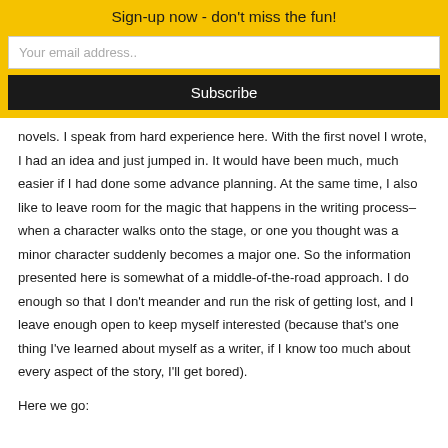Sign-up now - don't miss the fun!
Your email address..
Subscribe
novels.  I speak from hard experience here.  With the first novel I wrote, I had an idea and just jumped in.  It would have been much, much easier if I had done some advance planning.  At the same time, I also like to leave room for the magic that happens in the writing process–when a character walks onto the stage, or one you thought was a minor character suddenly becomes a major one.  So the information presented here is somewhat of a middle-of-the-road approach.  I do enough so that I don't meander and run the risk of getting lost, and I leave enough open to keep myself interested (because that's one thing I've learned about myself as a writer, if I know too much about every aspect of the story, I'll get bored).
Here we go: